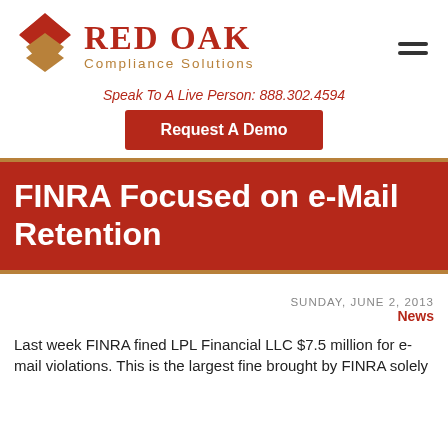[Figure (logo): Red Oak Compliance Solutions logo with diamond/chevron icon in red and gold, company name in red serif font, tagline in gold]
Speak To A Live Person: 888.302.4594
Request A Demo
FINRA Focused on e-Mail Retention
SUNDAY, JUNE 2, 2013
News
Last week FINRA fined LPL Financial LLC $7.5 million for e-mail violations. This is the largest fine brought by FINRA solely